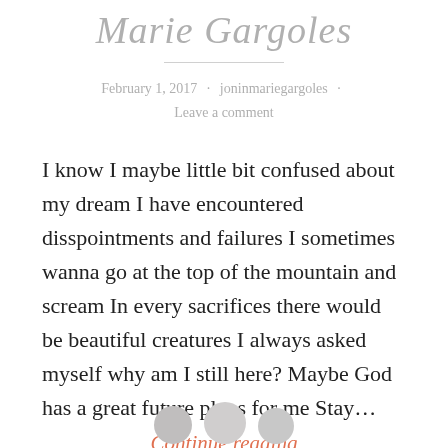Marie Gargoles
February 1, 2017 · joninmariegargoles · Leave a comment
I know I maybe little bit confused about my dream I have encountered disspointments and failures I sometimes wanna go at the top of the mountain and scream In every sacrifices there would be beautiful creatures I always asked myself why am I still here? Maybe God has a great future plans for me Stay…
Continue reading